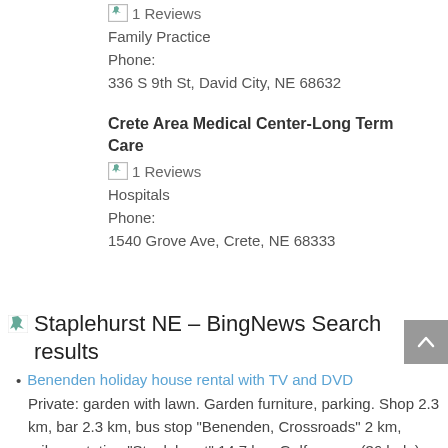1 Reviews
Family Practice
Phone:
336 S 9th St, David City, NE 68632
Crete Area Medical Center-Long Term Care
1 Reviews
Hospitals
Phone:
1540 Grove Ave, Crete, NE 68333
Staplehurst NE – BingNews Search results
Benenden holiday house rental with TV and DVD
Private: garden with lawn. Garden furniture, parking. Shop 2.3 km, bar 2.3 km, bus stop "Benenden, Crossroads" 2 km, railway station "Staplehurst" 14.7 km. Golf course (36 hole) 14.1 km, walking paths ...